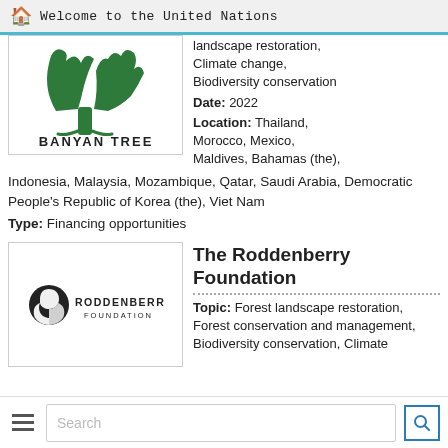Welcome to the United Nations
landscape restoration, Climate change, Biodiversity conservation
Date: 2022
Location: Thailand, Morocco, Mexico, Maldives, Bahamas (the), Indonesia, Malaysia, Mozambique, Qatar, Saudi Arabia, Democratic People's Republic of Korea (the), Viet Nam
Type: Financing opportunities
[Figure (logo): Banyan Tree logo — green stylized tree graphic above text 'BANYAN TREE']
[Figure (logo): Roddenberry Foundation logo — circular icon with profile face and text 'RODDENBERRY FOUNDATION']
The Roddenberry Foundation
Topic: Forest landscape restoration, Forest conservation and management, Biodiversity conservation, Climate